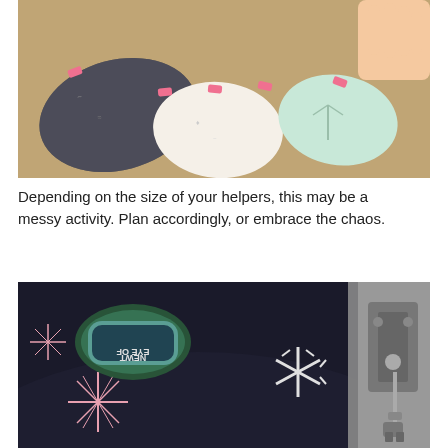[Figure (photo): Three fabric pouches clipped with pink sewing clips on a wooden surface, with a child's hand visible in the upper right. The pouches feature different patterned fabrics: dark grey with creatures, white with animals, and mint green with trees.]
Depending on the size of your helpers, this may be a messy activity. Plan accordingly, or embrace the chaos.
[Figure (photo): Close-up photo of a dark black fabric being sewn on a sewing machine. A fabric label reading 'Eye of Newt' is visible on the fabric, which has pink starburst and white snowflake patterns. The sewing machine needle and presser foot are visible on the right.]